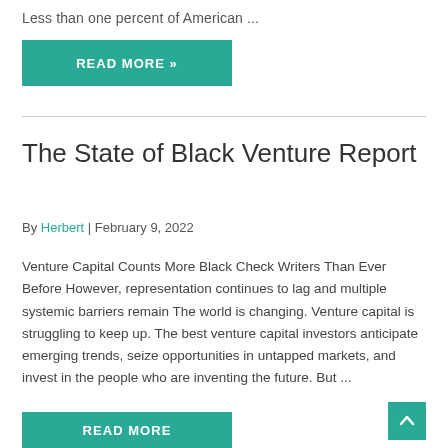Less than one percent of American ...
READ MORE »
The State of Black Venture Report
By Herbert | February 9, 2022
Venture Capital Counts More Black Check Writers Than Ever Before However, representation continues to lag and multiple systemic barriers remain The world is changing. Venture capital is struggling to keep up. The best venture capital investors anticipate emerging trends, seize opportunities in untapped markets, and invest in the people who are inventing the future. But ...
READ MORE